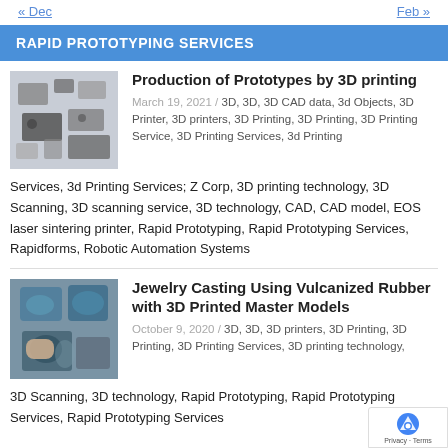« Dec   Feb »
RAPID PROTOTYPING SERVICES
[Figure (photo): 3D printed parts and electronic components laid out on a white surface]
Production of Prototypes by 3D printing
March 19, 2021 / 3D, 3D, 3D CAD data, 3d Objects, 3D Printer, 3D printers, 3D Printing, 3D Printing, 3D Printing Service, 3D Printing Services, 3d Printing Services, 3d Printing Services; Z Corp, 3D printing technology, 3D Scanning, 3D scanning service, 3D technology, CAD, CAD model, EOS laser sintering printer, Rapid Prototyping, Rapid Prototyping Services, Rapidforms, Robotic Automation Systems
[Figure (photo): Person working on jewelry casting with teal/blue shoes visible in background]
Jewelry Casting Using Vulcanized Rubber with 3D Printed Master Models
October 9, 2020 / 3D, 3D, 3D printers, 3D Printing, 3D Printing, 3D Printing Services, 3D printing technology, 3D Scanning, 3D technology, Rapid Prototyping, Rapid Prototyping Services, Rapid Prototyping Services